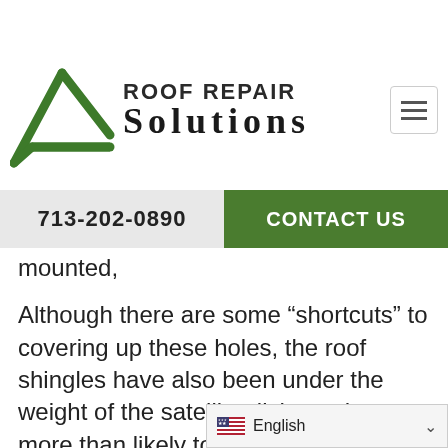[Figure (logo): Roof Repair Solutions logo with green roof/triangle graphic and company name text]
713-202-0890
CONTACT US
mounted,
Although there are some “shortcuts” to covering up these holes, the roof shingles have also been under the weight of the satellite dish, so they are more than likely to have sustained a level of damage. Further, it’s just overall better for your roof and the underlying structure to replace the a
English